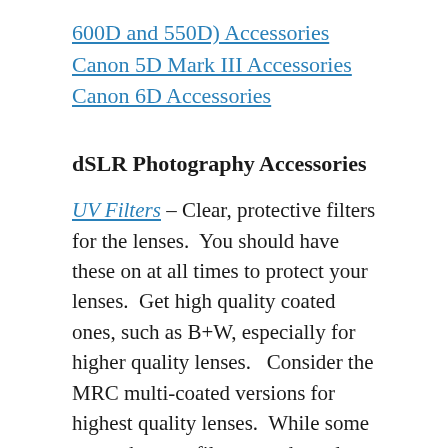600D and 550D) Accessories
Canon 5D Mark III Accessories
Canon 6D Accessories
dSLR Photography Accessories
UV Filters – Clear, protective filters for the lenses.  You should have these on at all times to protect your lenses.  Get high quality coated ones, such as B+W, especially for higher quality lenses.   Consider the MRC multi-coated versions for highest quality lenses.  While some argue that any filter may degrade image quality, a high-quality filter will show little effect, and most know that it is cheaper to